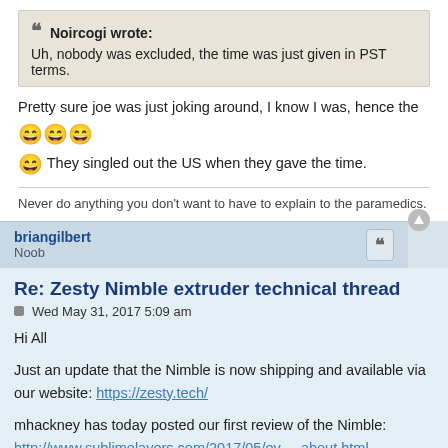Noircogi wrote: Uh, nobody was excluded, the time was just given in PST terms.
Pretty sure joe was just joking around, I know I was, hence the 😄😄😄😄. They singled out the US when they gave the time.
Never do anything you don't want to have to explain to the paramedics.
briangilbert
Noob
Re: Zesty Nimble extruder technical thread
Wed May 31, 2017 5:09 am
Hi All

Just an update that the Nimble is now shipping and available via our website: https://zesty.tech/

mhackney has today posted our first review of the Nimble:
http://www.sublimelayers.com/2017/05/ev ... about.html

Cheers
Brian